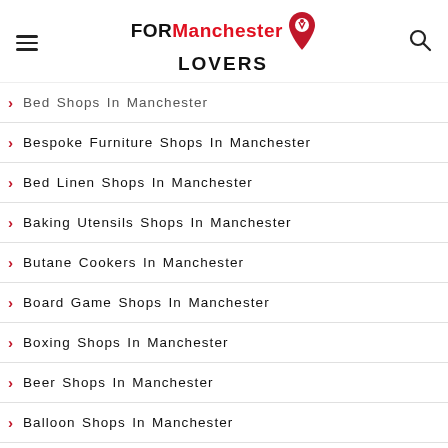FOR Manchester LOVERS
Bed Shops In Manchester
Bespoke Furniture Shops In Manchester
Bed Linen Shops In Manchester
Baking Utensils Shops In Manchester
Butane Cookers In Manchester
Board Game Shops In Manchester
Boxing Shops In Manchester
Beer Shops In Manchester
Balloon Shops In Manchester